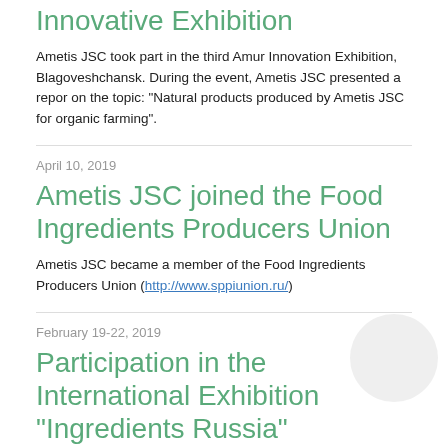Innovative Exhibition
Ametis JSC took part in the third Amur Innovation Exhibition, Blagoveshchansk. During the event, Ametis JSC presented a report on the topic: "Natural products produced by Ametis JSC for organic farming".
April 10, 2019
Ametis JSC joined the Food Ingredients Producers Union
Ametis JSC became a member of the Food Ingredients Producers Union (http://www.sppiunion.ru/)
February 19-22, 2019
Participation in the International Exhibition “Ingredients Russia”
Ametis JSC participated in the XXII International Exhibition "Ingredients Russia", held in February 19 to February 22 in the